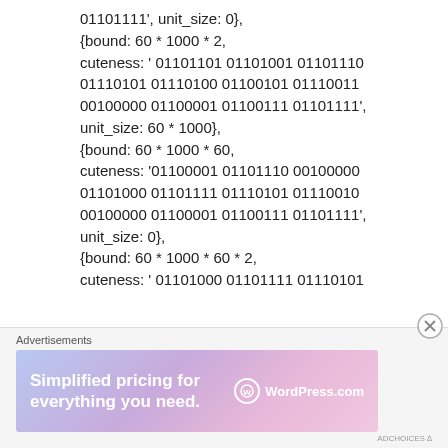01101111', unit_size: 0},
{bound: 60 * 1000 * 2,
cuteness: ' 01101101 01101001 01101110
01110101 01110100 01100101 01110011
00100000 01100001 01100111 01101111',
unit_size: 60 * 1000},
{bound: 60 * 1000 * 60,
cuteness: '01100001 01101110 00100000
01101000 01101111 01110101 01110010
00100000 01100001 01100111 01101111',
unit_size: 0},
{bound: 60 * 1000 * 60 * 2,
cuteness: ' 01101000 01101111 01110101
Advertisements
[Figure (infographic): WordPress.com advertisement banner: 'Simplified pricing for everything you need.' with WordPress.com logo on gradient background (blue/purple/pink)]